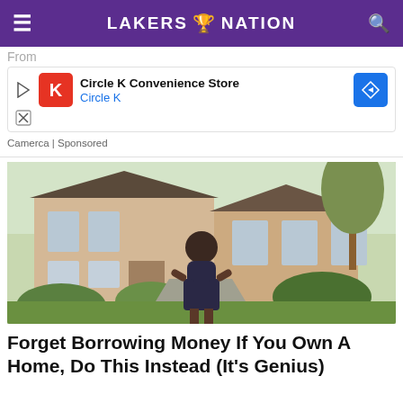LAKERS NATION
[Figure (screenshot): Circle K Convenience Store advertisement banner with play button, Circle K red logo, navigation arrow icon, and 'Camerca | Sponsored' attribution]
[Figure (photo): Woman in dark dress standing in front of a large luxury house with lush greenery and trees]
Forget Borrowing Money If You Own A Home, Do This Instead (It's Genius)